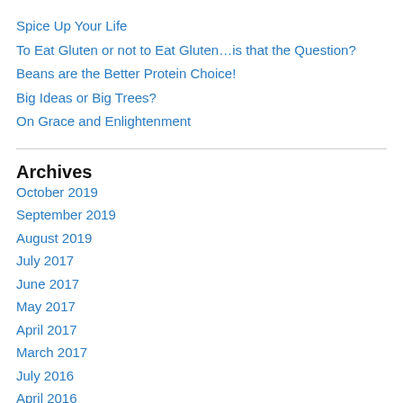Spice Up Your Life
To Eat Gluten or not to Eat Gluten…is that the Question?
Beans are the Better Protein Choice!
Big Ideas or Big Trees?
On Grace and Enlightenment
Archives
October 2019
September 2019
August 2019
July 2017
June 2017
May 2017
April 2017
March 2017
July 2016
April 2016
November 2015